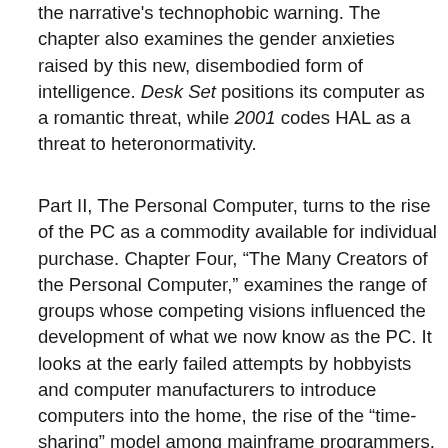the narrative's technophobic warning. The chapter also examines the gender anxieties raised by this new, disembodied form of intelligence. Desk Set positions its computer as a romantic threat, while 2001 codes HAL as a threat to heteronormativity.
Part II, The Personal Computer, turns to the rise of the PC as a commodity available for individual purchase. Chapter Four, "The Many Creators of the Personal Computer," examines the range of groups whose competing visions influenced the development of what we now know as the PC. It looks at the early failed attempts by hobbyists and computer manufacturers to introduce computers into the home, the rise of the "time-sharing" model among mainframe programmers, the development of a technotopian vision of the democratization of information by the People's Computer Company and other California-